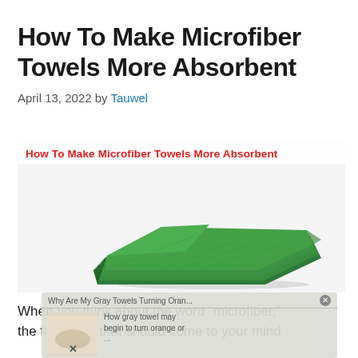How To Make Microfiber Towels More Absorbent
April 13, 2022 by Tauwel
[Figure (photo): Stack of green microfiber towels with red bold heading overlay reading 'How To Make Microfiber Towels More Absorbent']
When you think about the word “microfiber,” the first thing that should come to your mind